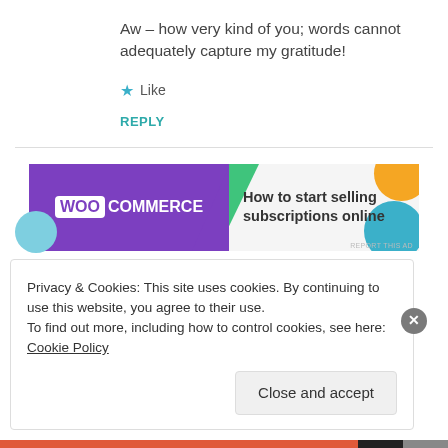Aw – how very kind of you; words cannot adequately capture my gratitude!
★ Like
REPLY
[Figure (illustration): WooCommerce advertisement banner: purple left side with WooCommerce logo, right side with text 'How to start selling subscriptions online', decorative colored shapes (orange circle, blue arc, green triangle).]
Privacy & Cookies: This site uses cookies. By continuing to use this website, you agree to their use.
To find out more, including how to control cookies, see here: Cookie Policy
Close and accept